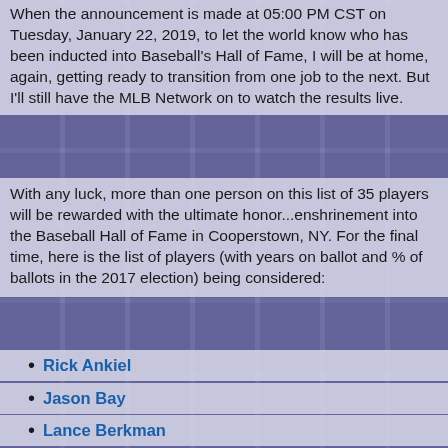When the announcement is made at 05:00 PM CST on Tuesday, January 22, 2019, to let the world know who has been inducted into Baseball's Hall of Fame, I will be at home, again, getting ready to transition from one job to the next. But I'll still have the MLB Network on to watch the results live.
With any luck, more than one person on this list of 35 players will be rewarded with the ultimate honor...enshrinement into the Baseball Hall of Fame in Cooperstown, NY. For the final time, here is the list of players (with years on ballot and % of ballots in the 2017 election) being considered:
Rick Ankiel
Jason Bay
Lance Berkman
Barry Bonds, 7th, 56.4%
Roger Clemens, 7th, 57.3%
Freddy Garcia
Jon Garland
Travis Hafner